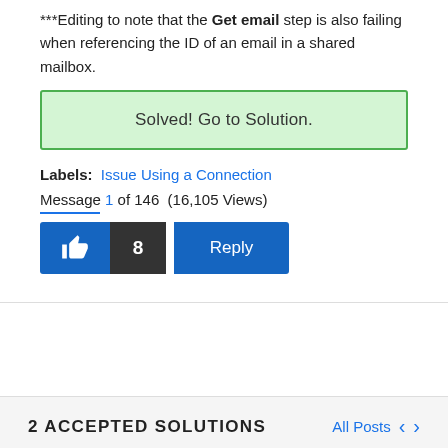***Editing to note that the Get email step is also failing when referencing the ID of an email in a shared mailbox.
Solved! Go to Solution.
Labels: Issue Using a Connection
Message 1 of 146 (16,105 Views)
[Figure (other): Like button with thumbs up icon, count badge showing 8, and Reply button]
2 ACCEPTED SOLUTIONS
All Posts < >